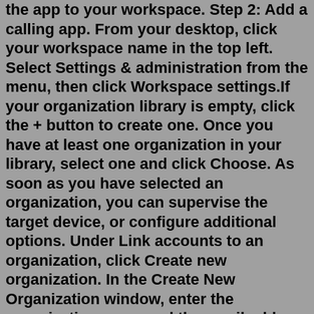the app to your workspace. Step 2: Add a calling app. From your desktop, click your workspace name in the top left. Select Settings & administration from the menu, then click Workspace settings.If your organization library is empty, click the + button to create one. Once you have at least one organization in your library, select one and click Choose. As soon as you have selected an organization, you can supervise the target device, or configure additional options. Under Link accounts to an organization, click Create new organization. In the Create New Organization window, enter the organization name and the email address of the account owner or an admin with editing privileges for account profile of the account you would like to add to your organization. Click Create. Click Continue. Notes:If your iPhone or iPad runs on iOS 11 or older, you can still access the cellular data restrictions below by visiting iPhone/iPad Settings > General > Restrictions. Step 1: Open the Settings app on...Open the "Settings" app on your device and go to "General". Select "Face ID